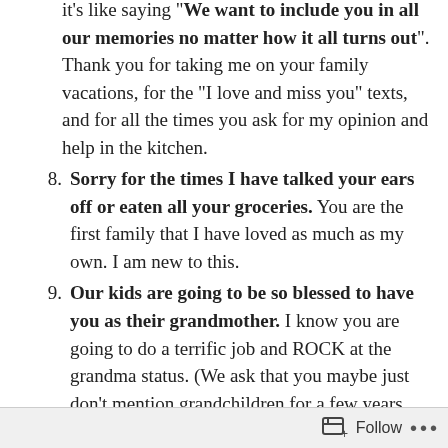it's like saying "We want to include you in all our memories no matter how it all turns out". Thank you for taking me on your family vacations, for the “I love and miss you” texts, and for all the times you ask for my opinion and help in the kitchen.
8. Sorry for the times I have talked your ears off or eaten all your groceries. You are the first family that I have loved as much as my own. I am new to this.
9. Our kids are going to be so blessed to have you as their grandmother. I know you are going to do a terrific job and ROCK at the grandma status. (We ask that you maybe just don't mention grandchildren for a few years though.)
10. Thank you for sharing all you have. To name a few: Your son, home, ideas, stories, time, and the rest of your family. (Especially all the pre-school
Follow